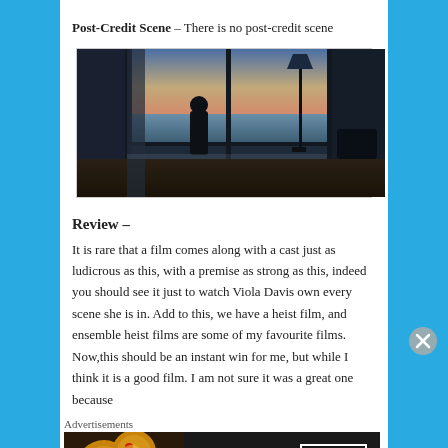Post-Credit Scene – There is no post-credit scene
[Figure (photo): Silhouette of a person standing and looking out of large floor-to-ceiling windows at a sunset ocean view, with a floor lamp visible on the right side of the room.]
Review –
It is rare that a film comes along with a cast just as ludicrous as this, with a premise as strong as this, indeed you should see it just to watch Viola Davis own every scene she is in. Add to this, we have a heist film, and ensemble heist films are some of my favourite films. Now,this should be an instant win for me, but while I think it is a good film. I am not sure it was a great one because
Advertisements
[Figure (photo): Seamless food delivery advertisement banner featuring pizza slices on the left, the Seamless logo in red in the center, and an ORDER NOW button on the right against a dark background.]